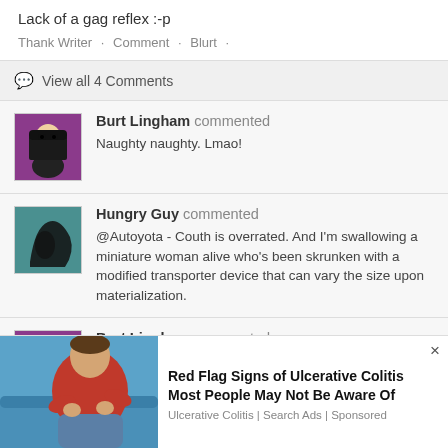Lack of a gag reflex :-p
Thank Writer · Comment · Blurt ·
View all 4 Comments
Burt Lingham commented
Naughty naughty. Lmao!
Hungry Guy commented
@Autoyota - Couth is overrated. And I'm swallowing a miniature woman alive who's been skrunken with a modified transporter device that can vary the size upon materialization.
Burt Lingham commented
[Figure (infographic): Advertisement: Red Flag Signs of Ulcerative Colitis Most People May Not Be Aware Of. Ulcerative Colitis | Search Ads | Sponsored. Image shows a person in a red shirt holding their stomach.]